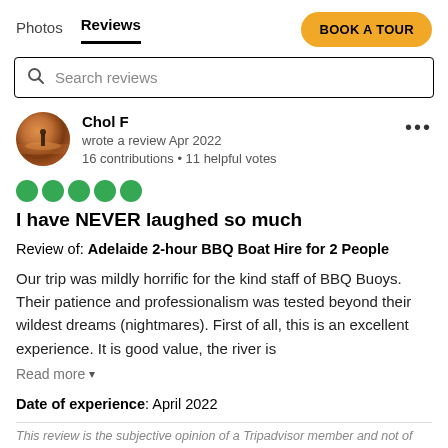Photos  Reviews  BOOK A TOUR
Search reviews
Chol F
wrote a review Apr 2022
16 contributions • 11 helpful votes
[Figure (other): Five green filled circles representing a 5-star rating]
I have NEVER laughed so much
Review of: Adelaide 2-hour BBQ Boat Hire for 2 People
Our trip was mildly horrific for the kind staff of BBQ Buoys. Their patience and professionalism was tested beyond their wildest dreams (nightmares). First of all, this is an excellent experience. It is good value, the river is
Read more
Date of experience: April 2022
This review is the subjective opinion of a Tripadvisor member and not of